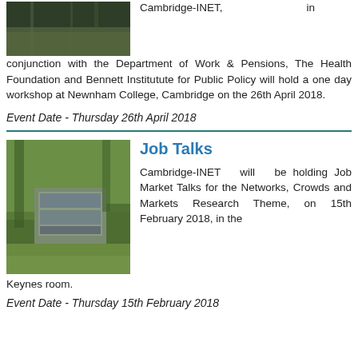[Figure (photo): Aerial or outdoor photo with dark green/brown tones, likely a path or garden]
Cambridge-INET, in conjunction with the Department of Work & Pensions, The Health Foundation and Bennett Institutute for Public Policy will hold a one day workshop at Newnham College, Cambridge on the 26th April 2018.
Event Date - Thursday 26th April 2018
[Figure (photo): Exterior photo of a modern building surrounded by trees with green leaves]
Job Talks
Cambridge-INET will be holding Job Market Talks for the Networks, Crowds and Markets Research Theme, on 15th February 2018, in the Keynes room.
Event Date - Thursday 15th February 2018